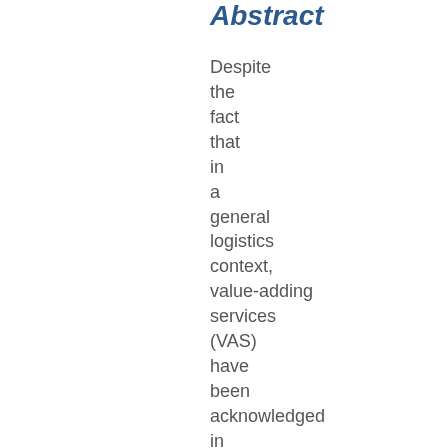Abstract
Despite the fact that in a general logistics context, value-adding services (VAS) have been acknowledged in various publications, there is a dearth